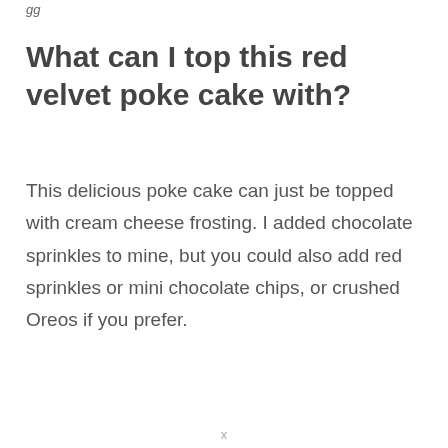gg
What can I top this red velvet poke cake with?
This delicious poke cake can just be topped with cream cheese frosting. I added chocolate sprinkles to mine, but you could also add red sprinkles or mini chocolate chips, or crushed Oreos if you prefer.
x